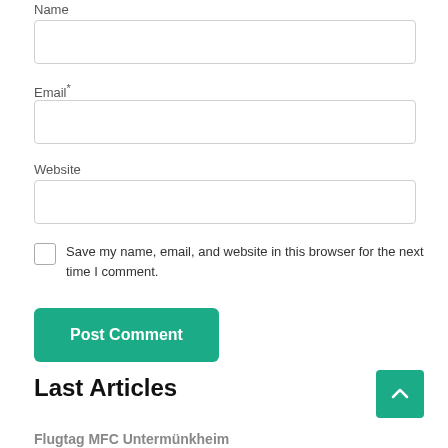Name
[Figure (screenshot): Empty text input field for Name]
Email*
[Figure (screenshot): Empty text input field for Email]
Website
[Figure (screenshot): Empty text input field for Website]
Save my name, email, and website in this browser for the next time I comment.
Post Comment
Last Articles
Flugtag MFC Untermünkheim